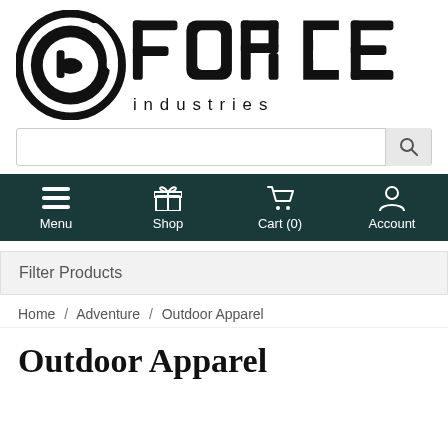[Figure (logo): Force Industries logo with circular icon and bold stylized text 'force industries']
[Figure (screenshot): Search bar with magnifying glass icon on the right]
[Figure (screenshot): Dark teal navigation bar with Menu, Shop, Cart (0), and Account icons]
Filter Products
Home / Adventure / Outdoor Apparel
Outdoor Apparel